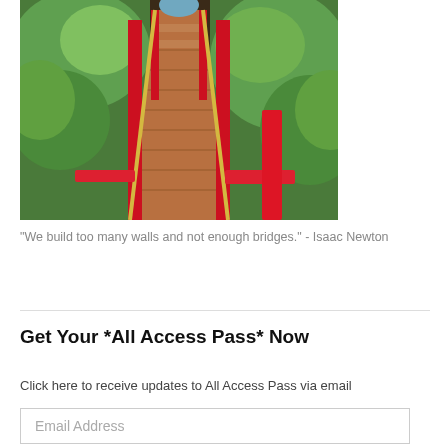[Figure (photo): Photo of a wooden boardwalk/bridge with red railings and yellow handrails leading through a lush green forest.]
"We build too many walls and not enough bridges." - Isaac Newton
Get Your *All Access Pass* Now
Click here to receive updates to All Access Pass via email
Email Address